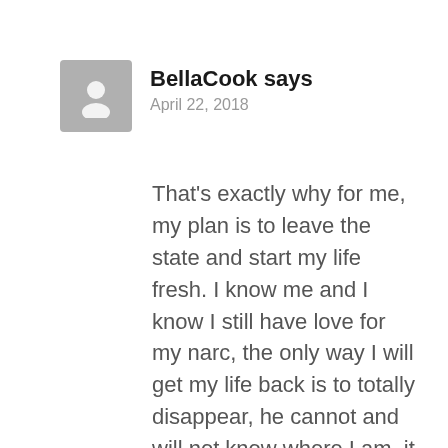[Figure (illustration): Generic grey avatar/profile picture placeholder icon showing a silhouette of a person]
BellaCook says
April 22, 2018
That's exactly why for me, my plan is to leave the state and start my life fresh. I know me and I know I still have love for my narc, the only way I will get my life back is to totally disappear, he cannot and will not know where I am, it will